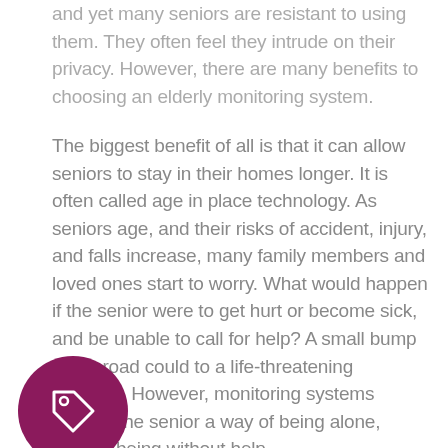and yet many seniors are resistant to using them. They often feel they intrude on their privacy. However, there are many benefits to choosing an elderly monitoring system.
The biggest benefit of all is that it can allow seniors to stay in their homes longer. It is often called age in place technology. As seniors age, and their risks of accident, injury, and falls increase, many family members and loved ones start to worry. What would happen if the senior were to get hurt or become sick, and be unable to call for help? A small bump in the road could to a life-threatening situation. However, monitoring systems provide the senior a way of being alone, without being without help.
[Figure (illustration): A circular dark magenta/purple icon button with a price tag / label icon in white outline.]